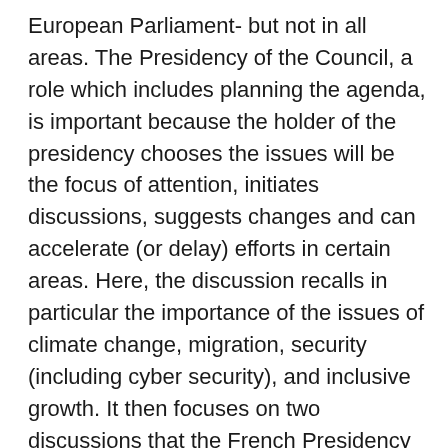European Parliament- but not in all areas. The Presidency of the Council, a role which includes planning the agenda, is important because the holder of the presidency chooses the issues will be the focus of attention, initiates discussions, suggests changes and can accelerate (or delay) efforts in certain areas. Here, the discussion recalls in particular the importance of the issues of climate change, migration, security (including cyber security), and inclusive growth. It then focuses on two discussions that the French Presidency must initiate, two areas in which the so-called “trio” of France, Czechia and Sweden (i.e. successive holders of the office of president which coordinate on policy) must promote reform: The budgetary framework and industrial policy. These crucial policy fields are all the more important as the functioning of the European